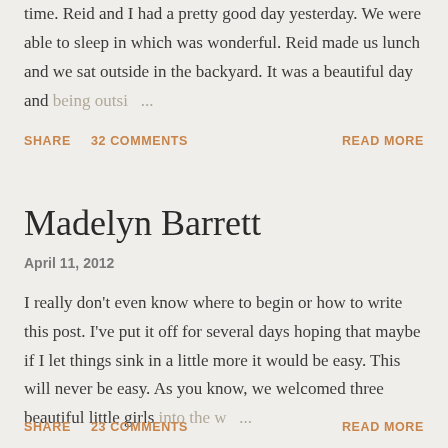time. Reid and I had a pretty good day yesterday. We were able to sleep in which was wonderful. Reid made us lunch and we sat outside in the backyard. It was a beautiful day and being outsi…
SHARE   32 COMMENTS   READ MORE
Madelyn Barrett
April 11, 2012
I really don't even know where to begin or how to write this post. I've put it off for several days hoping that maybe if I let things sink in a little more it would be easy. This will never be easy. As you know, we welcomed three beautiful little girls into the w…
SHARE   23 COMMENTS   READ MORE